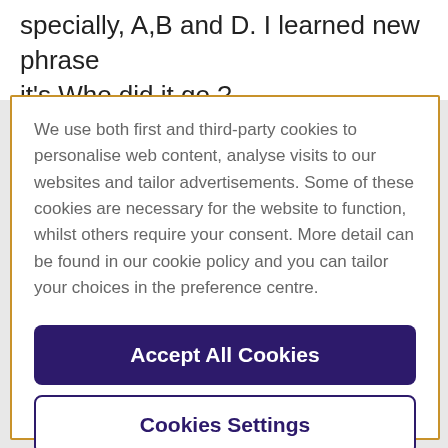specially, A,B and D. I learned new phrase it's Who did it go ?
We use both first and third-party cookies to personalise web content, analyse visits to our websites and tailor advertisements. Some of these cookies are necessary for the website to function, whilst others require your consent. More detail can be found in our cookie policy and you can tailor your choices in the preference centre.
Accept All Cookies
Cookies Settings